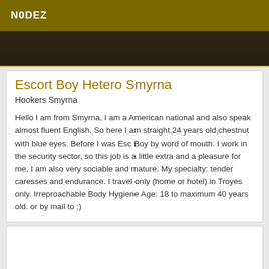N0DEZ
[Figure (photo): Dark photo strip showing a partial image at the top of the page]
Escort Boy Hetero Smyrna
Hookers Smyrna
Hello I am from Smyrna, I am a American national and also speak almost fluent English. So here I am straight,24 years old,chestnut with blue eyes. Before I was Esc Boy by word of mouth. I work in the security sector, so this job is a little extra and a pleasure for me, I am also very sociable and mature. My specialty: tender caresses and endurance. I travel only (home or hotel) in Troyes only. Irreproachable Body Hygiene Age: 18 to maximum 40 years old. or by mail to ;)